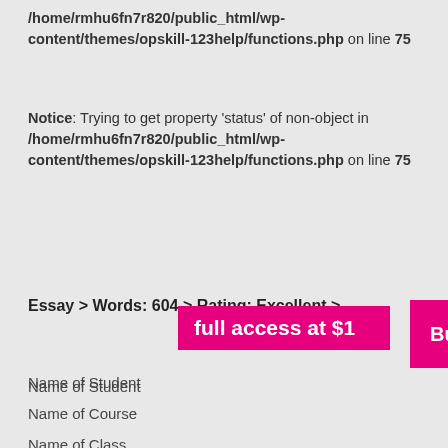/home/rmhu6fn7r820/public_html/wp-content/themes/opskill-123help/functions.php on line 75
Notice: Trying to get property 'status' of non-object in /home/rmhu6fn7r820/public_html/wp-content/themes/opskill-123help/functions.php on line 75
Essay > Words: 604 > Rating: Excellent >
[Figure (other): Magenta overlay banner with text 'full access at $1' and a Buy button]
Name of Student
Name of Course
Name of Class
Date of Submission
HW